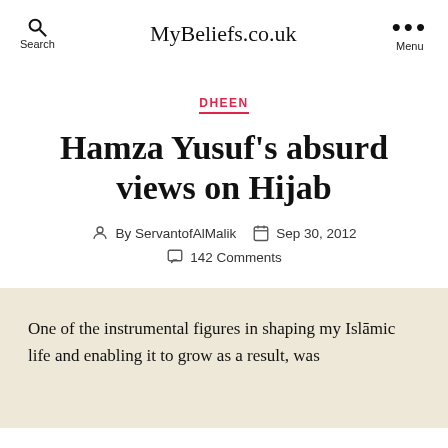Search  MyBeliefs.co.uk  Menu
DHEEN
Hamza Yusuf's absurd views on Hijab
By ServantofAlMalik  Sep 30, 2012  142 Comments
One of the instrumental figures in shaping my Islāmic life and enabling it to grow as a result, was